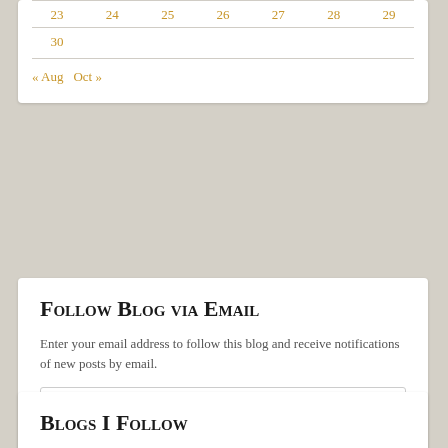| 23 | 24 | 25 | 26 | 27 | 28 | 29 |
| --- | --- | --- | --- | --- | --- | --- |
| 30 |  |  |  |  |  |  |
« Aug   Oct »
Follow Blog via Email
Enter your email address to follow this blog and receive notifications of new posts by email.
Enter your email address
Follow
Join 329 other followers
Blogs I Follow
rarasaur